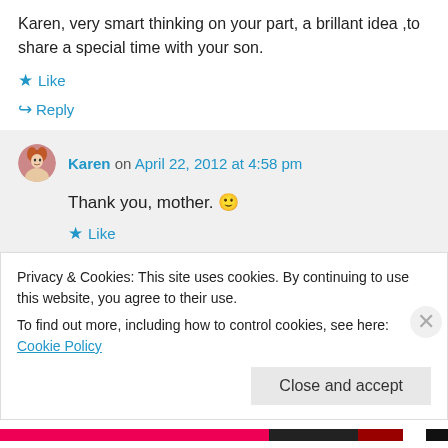Karen, very smart thinking on your part, a brillant idea ,to share a special time with your son.
★ Like
↪ Reply
Karen on April 22, 2012 at 4:58 pm
Thank you, mother. 🙂
★ Like
Privacy & Cookies: This site uses cookies. By continuing to use this website, you agree to their use. To find out more, including how to control cookies, see here: Cookie Policy
Close and accept